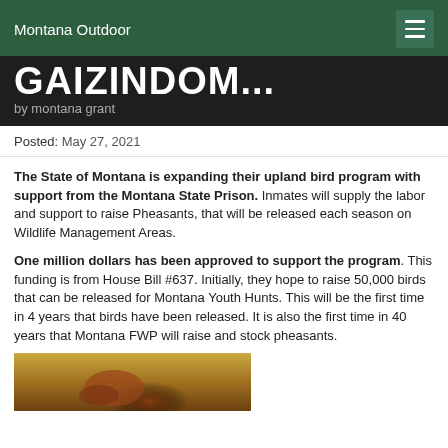Montana Outdoor
GAIZINDOM...
by montana grant
Posted: May 27, 2021
The State of Montana is expanding their upland bird program with support from the Montana State Prison. Inmates will supply the labor and support to raise Pheasants, that will be released each season on Wildlife Management Areas.
One million dollars has been approved to support the program. This funding is from House Bill #637. Initially, they hope to raise 50,000 birds that can be released for Montana Youth Hunts. This will be the first time in 4 years that birds have been released. It is also the first time in 40 years that Montana FWP will raise and stock pheasants.
[Figure (photo): Partial photo of a pheasant bird with brown and orange plumage against a golden background]